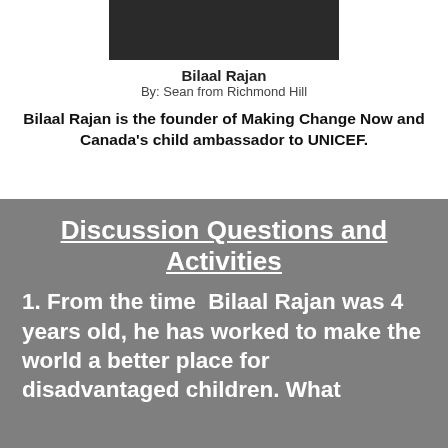[Figure (photo): Photo of Bilaal Rajan, cropped at top of page]
Bilaal Rajan
By: Sean from Richmond Hill
Bilaal Rajan is the founder of Making Change Now and Canada's child ambassador to UNICEF.
Discussion Questions and Activities
1. From the time  Bilaal Rajan was 4 years old, he has worked to make the world a better place for disadvantaged children. What